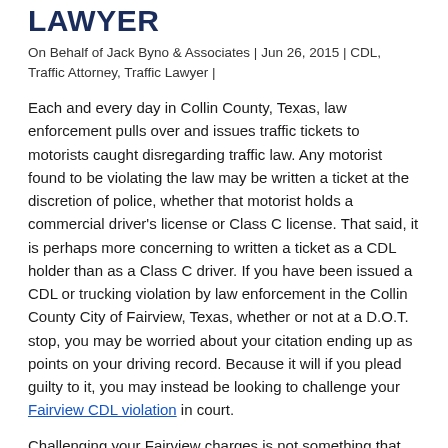LAWYER
On Behalf of Jack Byno & Associates | Jun 26, 2015 | CDL, Traffic Attorney, Traffic Lawyer |
Each and every day in Collin County, Texas, law enforcement pulls over and issues traffic tickets to motorists caught disregarding traffic law. Any motorist found to be violating the law may be written a ticket at the discretion of police, whether that motorist holds a commercial driver's license or Class C license. That said, it is perhaps more concerning to written a ticket as a CDL holder than as a Class C driver. If you have been issued a CDL or trucking violation by law enforcement in the Collin County City of Fairview, Texas, whether or not at a D.O.T. stop, you may be worried about your citation ending up as points on your driving record. Because it will if you plead guilty to it, you may instead be looking to challenge your Fairview CDL violation in court.
Challenging your Fairview charges is not something that you must attempt to accomplish on your own. You may seek